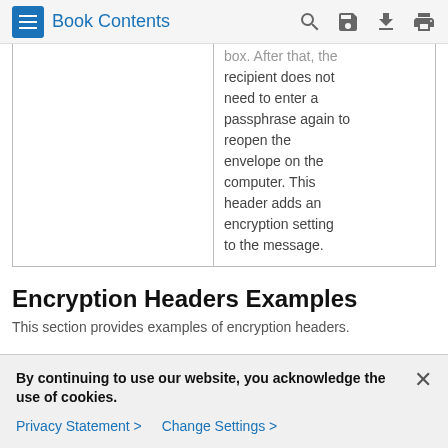Book Contents
|  |  |
| --- | --- |
|  | box. After that, the recipient does not need to enter a passphrase again to reopen the envelope on the computer. This header adds an encryption setting to the message. |
Encryption Headers Examples
This section provides examples of encryption headers.
By continuing to use our website, you acknowledge the use of cookies.
Privacy Statement > Change Settings >